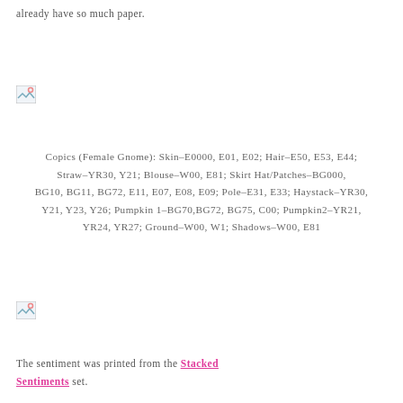already have so much paper.
[Figure (photo): Broken/missing image placeholder 1]
Copics (Female Gnome): Skin-E0000, E01, E02; Hair-E50, E53, E44; Straw-YR30, Y21; Blouse-W00, E81; Skirt Hat/Patches-BG000, BG10, BG11, BG72, E11, E07, E08, E09; Pole-E31, E33; Haystack-YR30, Y21, Y23, Y26; Pumpkin 1-BG70,BG72, BG75, C00; Pumpkin2-YR21, YR24, YR27; Ground-W00, W1; Shadows-W00, E81
[Figure (photo): Broken/missing image placeholder 2]
The sentiment was printed from the Stacked Sentiments set.